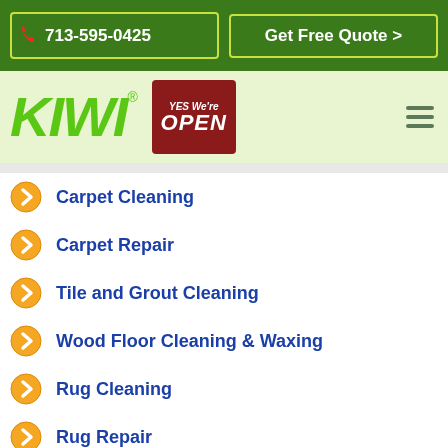713-595-0425 | Get Free Quote >
[Figure (logo): KIWI logo with Yes We're Open badge and hamburger menu]
Carpet Cleaning
Carpet Repair
Tile and Grout Cleaning
Wood Floor Cleaning & Waxing
Rug Cleaning
Rug Repair
Upholstery Cleaning
Water Damage Restoration
Discount Coupons
Frequently Asked Questions